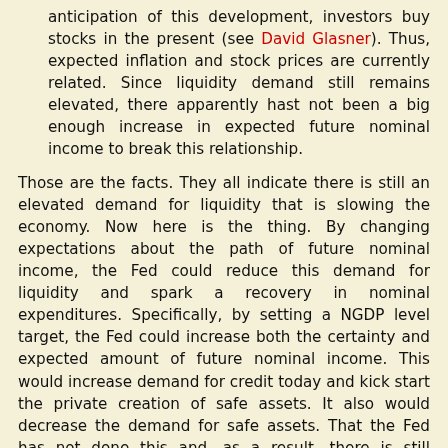anticipation of this development, investors buy stocks in the present (see David Glasner). Thus, expected inflation and stock prices are currently related. Since liquidity demand still remains elevated, there apparently hast not been a big enough increase in expected future nominal income to break this relationship.
Those are the facts. They all indicate there is still an elevated demand for liquidity that is slowing the economy. Now here is the thing. By changing expectations about the path of future nominal income, the Fed could reduce this demand for liquidity and spark a recovery in nominal expenditures. Specifically, by setting a NGDP level target, the Fed could increase both the certainty and expected amount of future nominal income. This would increase demand for credit today and kick start the private creation of safe assets. It also would decrease the demand for safe assets. That the Fed has not done this and, as a result, there is still elevated liquidity demand screams Fed failure, not success.